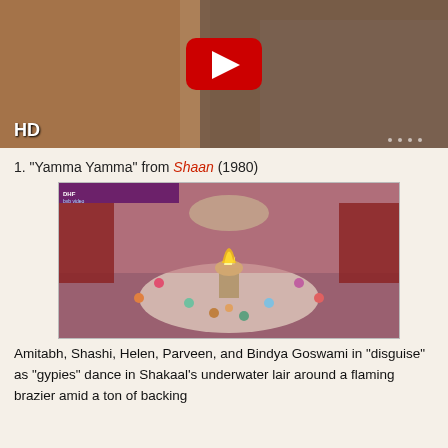[Figure (screenshot): YouTube video thumbnail showing two figures dancing, with red YouTube play button overlay and HD badge in bottom left corner]
1. "Yamma Yamma" from Shaan (1980)
[Figure (screenshot): Video still from Shaan (1980) showing an ornate indoor set with performers dancing around a flaming brazier in a circular formation, with colorful costumes]
Amitabh, Shashi, Helen, Parveen, and Bindya Goswami in "disguise" as "gypies" dance in Shakaal's underwater lair around a flaming brazier amid a ton of backing